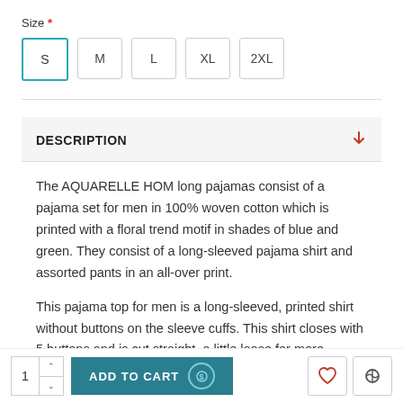Size *
S  M  L  XL  2XL
DESCRIPTION
The AQUARELLE HOM long pajamas consist of a pajama set for men in 100% woven cotton which is printed with a floral trend motif in shades of blue and green. They consist of a long-sleeved pajama shirt and assorted pants in an all-over print.
This pajama top for men is a long-sleeved, printed shirt without buttons on the sleeve cuffs. This shirt closes with 5 buttons and is cut straight, a little loose for more freedom of movement. An H is embroidered in navy
1  ADD TO CART